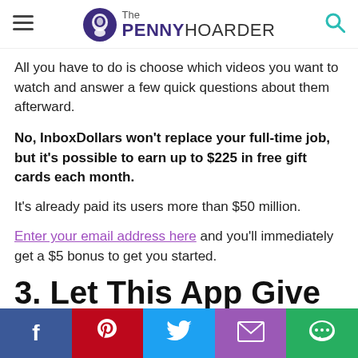The PENNY HOARDER
All you have to do is choose which videos you want to watch and answer a few quick questions about them afterward.
No, InboxDollars won't replace your full-time job, but it's possible to earn up to $225 in free gift cards each month.
It's already paid its users more than $50 million.
Enter your email address here and you'll immediately get a $5 bonus to get you started.
3. Let This App Give You up to $83 in Gift Cards When You Win Solitaire Games
Facebook Pinterest Twitter Email Chat